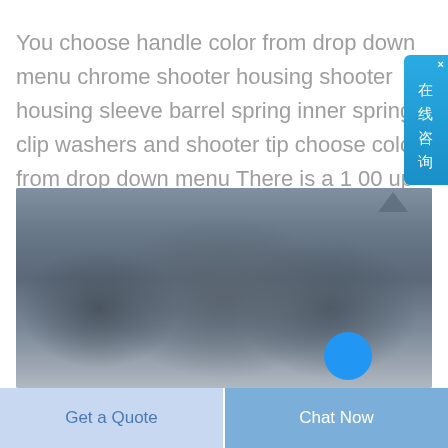You choose handle color from drop down menu chrome shooter housing shooter housing sleeve barrel spring inner spring e clip washers and shooter tip choose color from drop down menu There is a 1 00 up charge for all handle colors except black
[Figure (photo): Outdoor photo of mountainous/hilly landscape with rocky terrain, hazy blue-grey sky, and a blue circular chat button overlay in the bottom right corner. An arrow cursor icon is visible near the top right.]
Get a Quote
Chat Now